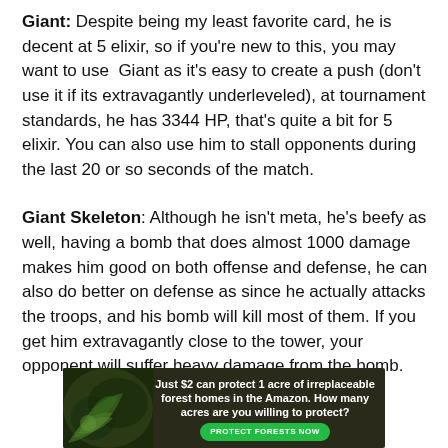Giant: Despite being my least favorite card, he is decent at 5 elixir, so if you're new to this, you may want to use Giant as it's easy to create a push (don't use it if its extravagantly underleveled), at tournament standards, he has 3344 HP, that's quite a bit for 5 elixir. You can also use him to stall opponents during the last 20 or so seconds of the match.
Giant Skeleton: Although he isn't meta, he's beefy as well, having a bomb that does almost 1000 damage makes him good on both offense and defense, he can also do better on defense as since he actually attacks the troops, and his bomb will kill most of them. If you get him extravagantly close to the tower, your opponent will suffer heavy damage from the bomb.
[Figure (other): Advertisement banner: Dark forest background with leaves on the left side. Text reads: 'Just $2 can protect 1 acre of irreplaceable forest homes in the Amazon. How many acres are you willing to protect?' with a green button labeled 'PROTECT FORESTS NOW'.]